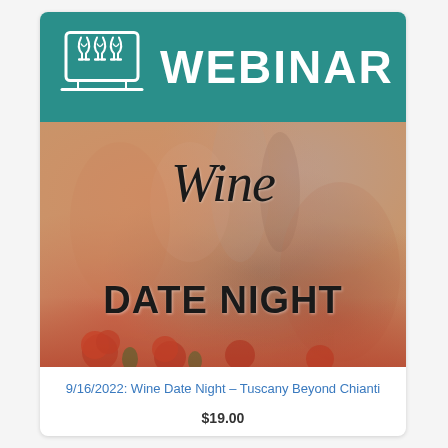[Figure (illustration): Webinar promotional card for a wine date night event. Teal header with laptop+wine glasses icon and 'WEBINAR' text. Below is a blurred romantic photo with wine glasses and roses, overlaid with 'Wine' in cursive script and 'DATE NIGHT' in bold black text.]
9/16/2022: Wine Date Night – Tuscany Beyond Chianti
$19.00